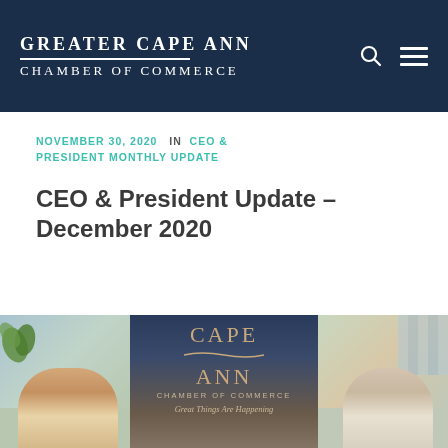Greater Cape Ann Chamber of Commerce
NOVEMBER 30, 2020  IN CEO & PRESIDENT MONTHLY UPDATE
CEO & President Update – December 2020
[Figure (photo): Photo showing two men in separate office settings flanking a Cape Ann Chamber of Commerce sign that reads 'Great Things Are Happening']